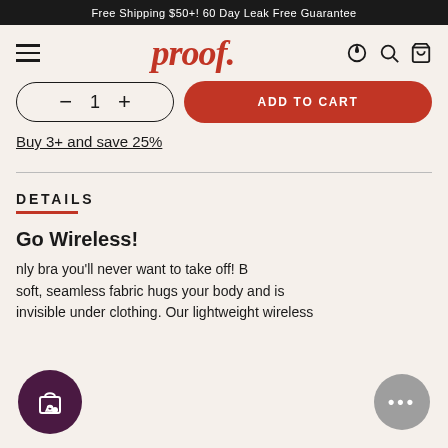Free Shipping $50+! 60 Day Leak Free Guarantee
[Figure (logo): proof. brand logo in red italic serif font with hamburger menu, contrast, search, and bag icons]
[Figure (other): Quantity selector with minus, 1, plus controls and red ADD TO CART button]
Buy 3+ and save 25%
DETAILS
Go Wireless!
nly bra you'll never want to take off! B soft, seamless fabric hugs your body and is invisible under clothing. Our lightweight wireless